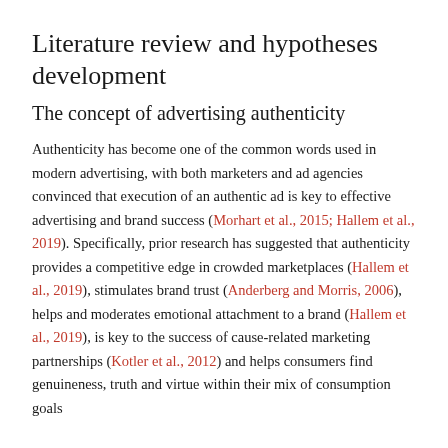Literature review and hypotheses development
The concept of advertising authenticity
Authenticity has become one of the common words used in modern advertising, with both marketers and ad agencies convinced that execution of an authentic ad is key to effective advertising and brand success (Morhart et al., 2015; Hallem et al., 2019). Specifically, prior research has suggested that authenticity provides a competitive edge in crowded marketplaces (Hallem et al., 2019), stimulates brand trust (Anderberg and Morris, 2006), helps and moderates emotional attachment to a brand (Hallem et al., 2019), is key to the success of cause-related marketing partnerships (Kotler et al., 2012) and helps consumers find genuineness, truth and virtue within their mix of consumption goals